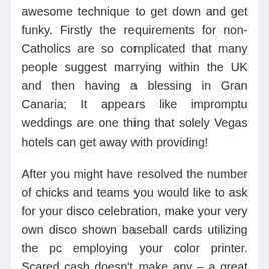awesome technique to get down and get funky. Firstly the requirements for non-Catholics are so complicated that many people suggest marrying within the UK and then having a blessing in Gran Canaria; It appears like impromptu weddings are one thing that solely Vegas hotels can get away with providing!
After you might have resolved the number of chicks and teams you would like to ask for your disco celebration, make your very own disco shown baseball cards utilizing the pc employing your color printer. Scared cash doesn't make any – a great meditational mantra that comes from the evocative mysteries of road-level gambling and investment advice. When it's easier to play your hand, you're extra more likely to make the fair play and situs judi